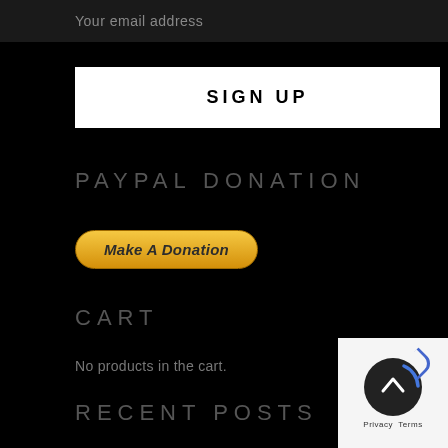Your email address
SIGN UP
PAYPAL DONATION
[Figure (other): Make A Donation PayPal button — golden gradient pill-shaped button with italic bold text]
CART
No products in the cart.
RECENT POSTS
[Figure (other): Scroll-to-top circular button with upward chevron arrow and blue arc, on a light grey background panel, with 'Privacy Terms' text below]